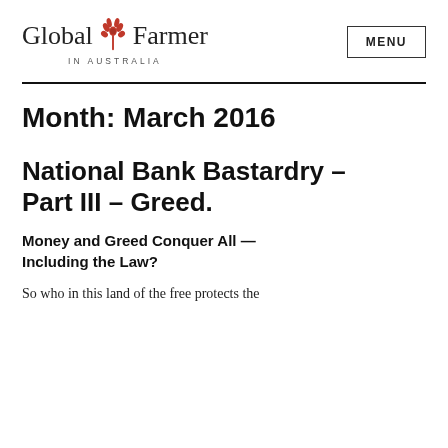Global Farmer IN AUSTRALIA
Month: March 2016
National Bank Bastardry – Part III – Greed.
Money and Greed Conquer All — Including the Law?
So who in this land of the free protects the